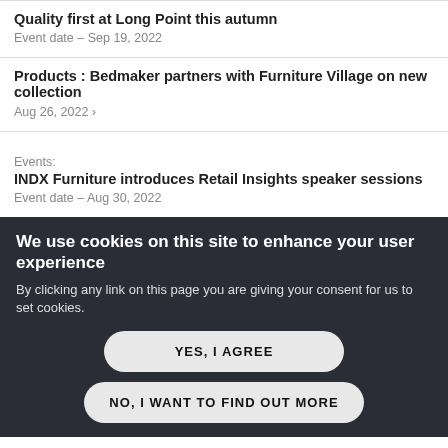Quality first at Long Point this autumn
Event date – Sep 19, 2022
Products : Bedmaker partners with Furniture Village on new collection
Aug 26, 2022 >
Events:
INDX Furniture introduces Retail Insights speaker sessions
Event date – Aug 30, 2022
We use cookies on this site to enhance your user experience
By clicking any link on this page you are giving your consent for us to set cookies.
YES, I AGREE
NO, I WANT TO FIND OUT MORE